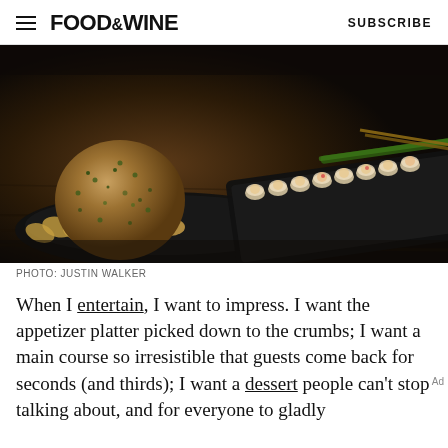FOOD&WINE  SUBSCRIBE
[Figure (photo): Dark moody food photograph showing a cheese ball coated in herbs surrounded by crackers on a black plate, and a row of small stuffed appetizer cups on a long black tray, set on a wooden table.]
PHOTO: JUSTIN WALKER
When I entertain, I want to impress. I want the appetizer platter picked down to the crumbs; I want a main course so irresistible that guests come back for seconds (and thirds); I want a dessert people can't stop talking about, and for everyone to gladly